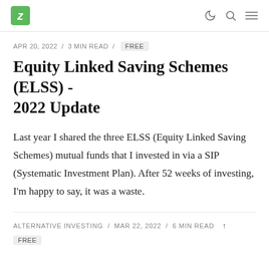Z logo / dark mode / search / menu
APR 20, 2022 / 3 MIN READ / FREE
Equity Linked Saving Schemes (ELSS) - 2022 Update
Last year I shared the three ELSS (Equity Linked Saving Schemes) mutual funds that I invested in via a SIP (Systematic Investment Plan). After 52 weeks of investing, I'm happy to say, it was a waste.
ALTERNATIVE INVESTING / MAR 22, 2022 / 6 MIN READ FREE